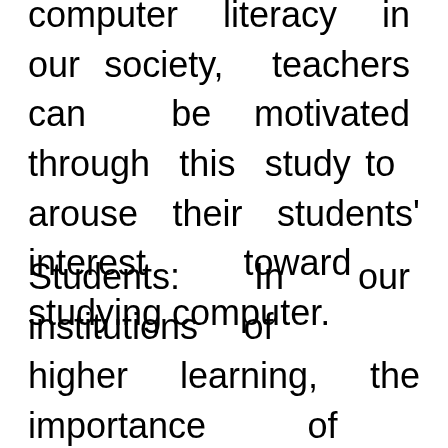computer literacy in our society, teachers can be motivated through this study to arouse their students' interest toward studying computer.
Students: In our institutions of higher learning, the importance of computer cannot be over emphasized.